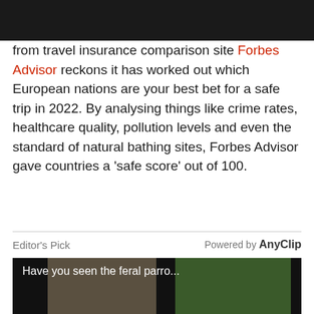from travel insurance comparison site Forbes Advisor reckons it has worked out which European nations are your best bet for a safe trip in 2022. By analysing things like crime rates, healthcare quality, pollution levels and even the standard of natural bathing sites, Forbes Advisor gave countries a 'safe score' out of 100.
Editor's Pick   Powered by AnyClip
[Figure (screenshot): Video thumbnail showing a tree trunk with bark texture on the left and green foliage on the right against a dark background. White text overlay reads 'Have you seen the feral parro...']